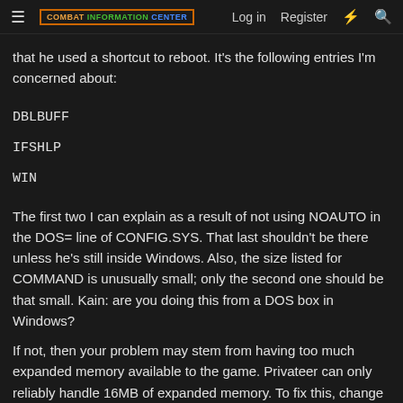COMBAT INFORMATION CENTER | Log in | Register
that he used a shortcut to reboot. It's the following entries I'm concerned about:
DBLBUFF
IFSHLP
WIN
The first two I can explain as a result of not using NOAUTO in the DOS= line of CONFIG.SYS. That last shouldn't be there unless he's still inside Windows. Also, the size listed for COMMAND is unusually small; only the second one should be that small. Kain: are you doing this from a DOS box in Windows?
If not, then your problem may stem from having too much expanded memory available to the game. Privateer can only reliably handle 16MB of expanded memory. To fix this, change the EMM386.EXE line in the config.sys you use for Privateer to look like this: